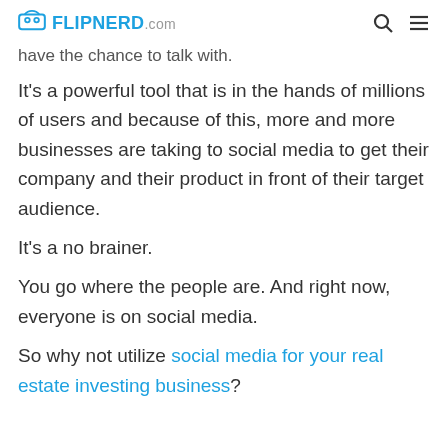FLIPNERD.com
have the chance to talk with.
It's a powerful tool that is in the hands of millions of users and because of this, more and more businesses are taking to social media to get their company and their product in front of their target audience.

It's a no brainer.

You go where the people are. And right now, everyone is on social media.

So why not utilize social media for your real estate investing business?